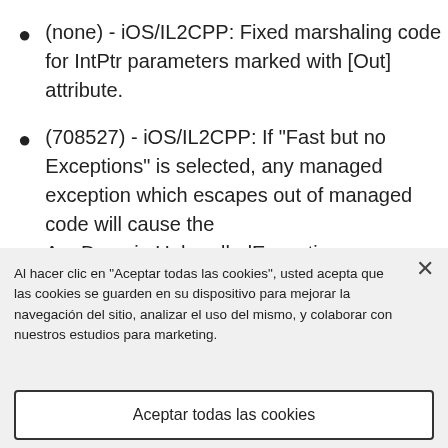(none) - iOS/IL2CPP: Fixed marshaling code for IntPtr parameters marked with [Out] attribute.
(708527) - iOS/IL2CPP: If "Fast but no Exceptions" is selected, any managed exception which escapes out of managed code will cause the AppDomain.UnhandledException
Al hacer clic en “Aceptar todas las cookies”, usted acepta que las cookies se guarden en su dispositivo para mejorar la navegación del sitio, analizar el uso del mismo, y colaborar con nuestros estudios para marketing.
Configuración de cookies
Aceptar todas las cookies